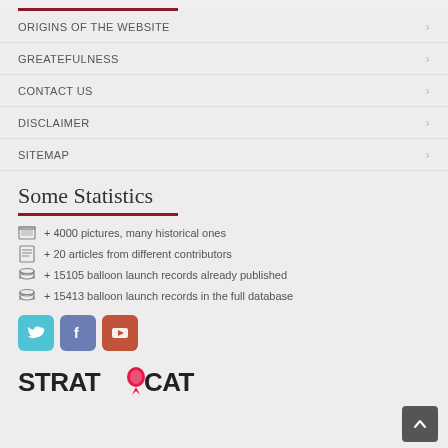ORIGINS OF THE WEBSITE
GREATEFULNESS
CONTACT US
DISCLAIMER
SITEMAP
Some Statistics
+ 4000 pictures, many historical ones
+ 20 articles from different contributors
+ 15105 balloon launch records already published
+ 15413 balloon launch records in the full database
[Figure (logo): Social media icons: Twitter, Facebook, YouTube]
[Figure (logo): StratoCat logo]